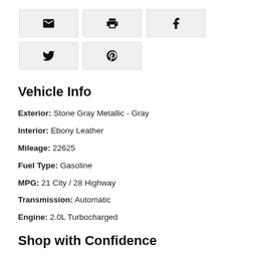[Figure (other): Row of 5 social/share icon buttons: email, print, Facebook, Twitter, Pinterest]
Vehicle Info
Exterior: Stone Gray Metallic - Gray
Interior: Ebony Leather
Mileage: 22625
Fuel Type: Gasoline
MPG: 21 City / 28 Highway
Transmission: Automatic
Engine: 2.0L Turbocharged
Shop with Confidence